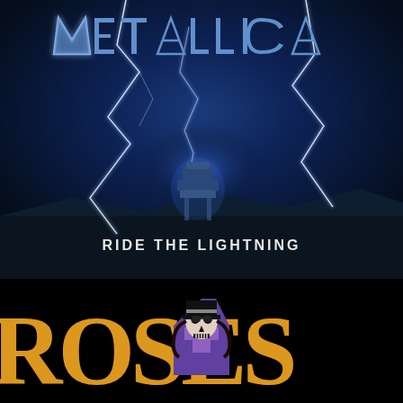[Figure (illustration): Metallica 'Ride the Lightning' album cover: dark stormy blue sky background with dramatic lightning bolts. Metallic 3D chrome-styled 'Metallica' band name logo at top in perspective. An electric chair silhouetted in center with lightning arcing to it. White text 'RIDE THE LIGHTNING' in the lower center of the image.]
[Figure (illustration): Guns N' Roses 'Appetite for Destruction' album art: black background with bold yellow-orange stylized 'GN'R' or 'ROSES' lettering partially visible on left side, the iconic skull cross logo (Appetite for Destruction cross with skulls) in the center, and 'APPETITE' text in red on the right side, all cropped.]